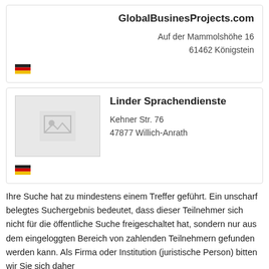GlobalBusinesProjects.com
Auf der Mammolshöhe 16
61462 Königstein
[Figure (illustration): Image placeholder for Linder Sprachendienste listing]
Linder Sprachendienste
Kehner Str. 76
47877 Willich-Anrath
Ihre Suche hat zu mindestens einem Treffer geführt. Ein unscharf belegtes Suchergebnis bedeutet, dass dieser Teilnehmer sich nicht für die öffentliche Suche freigeschaltet hat, sondern nur aus dem eingeloggten Bereich von zahlenden Teilnehmern gefunden werden kann. Als Firma oder Institution (juristische Person) bitten wir Sie sich daher